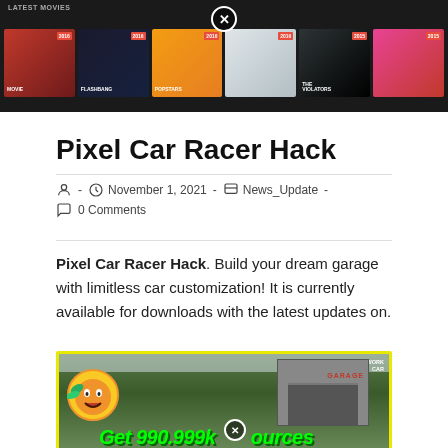[Figure (screenshot): Screenshot of a movie streaming website showing 'Latest Movies' row with multiple movie thumbnails including Popstars, The Violators and others with year badges. Has a close/X button overlay at the top.]
Pixel Car Racer Hack
November 1, 2021 · News_Update · 0 Comments
Pixel Car Racer Hack. Build your dream garage with limitless car customization! It is currently available for downloads with the latest updates on.
[Figure (screenshot): Screenshot from Pixel Car Racer game showing a garage scene with pixel art graphics, a coin/money emoji mascot on the left, and green text reading 'Get 990,999k resources' overlaid. Yellow border around the image. Has a close/X button overlay.]